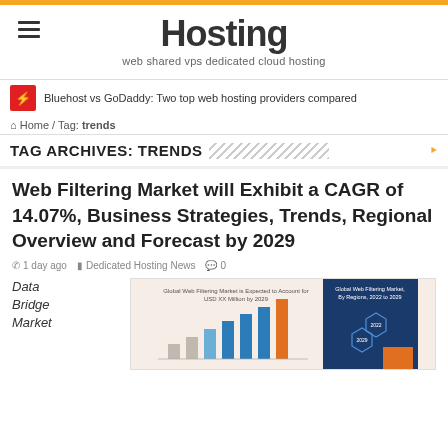Hosting — web shared vps dedicated cloud hosting
Bluehost vs GoDaddy: Two top web hosting providers compared
Home / Tag: trends
TAG ARCHIVES: TRENDS
Web Filtering Market will Exhibit a CAGR of 14.07%, Business Strategies, Trends, Regional Overview and Forecast by 2029
1 day ago   Dedicated Hosting News   0
Data Bridge Market
[Figure (infographic): Global Web Filtering Market infographic showing bar chart with caption 'Global Web Filtering Market is Expected to Account for USD XX Million by 2029' and a blue panel 'Global Web Filtering Market, By Regions, 2022 to 2029']